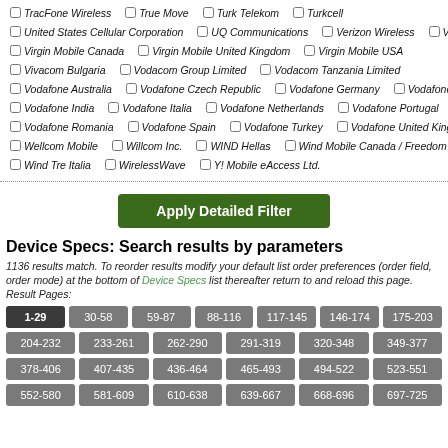TracFone Wireless, True Move, Turk Telekom, Turkcell
United States Cellular Corporation, UQ Communications, Verizon Wireless, Videotron GP
Virgin Mobile Canada, Virgin Mobile United Kingdom, Virgin Mobile USA
Vivacom Bulgaria, Vodacom Group Limited, Vodacom Tanzania Limited
Vodafone Australia, Vodafone Czech Republic, Vodafone Germany, Vodafone Hungary
Vodafone India, Vodafone Italia, Vodafone Netherlands, Vodafone Portugal
Vodafone Romania, Vodafone Spain, Vodafone Turkey, Vodafone United Kingdom
Wellcom Mobile, Willcom Inc., WIND Hellas, Wind Mobile Canada / Freedom Mobile
Wind Tre Italia, WirelessWave, Y! Mobile eAccess Ltd.
Apply Detailed Filter
Device Specs: Search results by parameters
1136 results match. To reorder results modify your default list order preferences (order field, order mode) at the bottom of Device Specs list thereafter return to and reload this page. Result Pages:
1-29, 30-58, 59-87, 88-116, 117-145, 146-174, 175-203, 204-232, 233-261, 262-290, 291-319, 320-348, 349-377, 378-406, 407-435, 436-464, 465-493, 494-522, 523-551, 552-580, 581-609, 610-638, 639-667, 668-696, 697-725